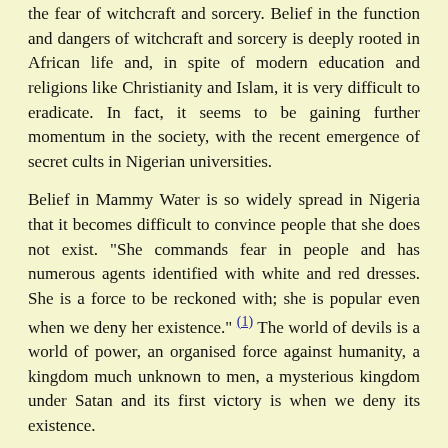the fear of witchcraft and sorcery. Belief in the function and dangers of witchcraft and sorcery is deeply rooted in African life and, in spite of modern education and religions like Christianity and Islam, it is very difficult to eradicate. In fact, it seems to be gaining further momentum in the society, with the recent emergence of secret cults in Nigerian universities.
Belief in Mammy Water is so widely spread in Nigeria that it becomes difficult to convince people that she does not exist. "She commands fear in people and has numerous agents identified with white and red dresses. She is a force to be reckoned with; she is popular even when we deny her existence." (1) The world of devils is a world of power, an organised force against humanity, a kingdom much unknown to men, a mysterious kingdom under Satan and its first victory is when we deny its existence.
Early attempts to deal with traditional religion
The extensive mission work in Africa in the pre-colonial period (2) was characterized by its having to deal with independent African societies. It was limited